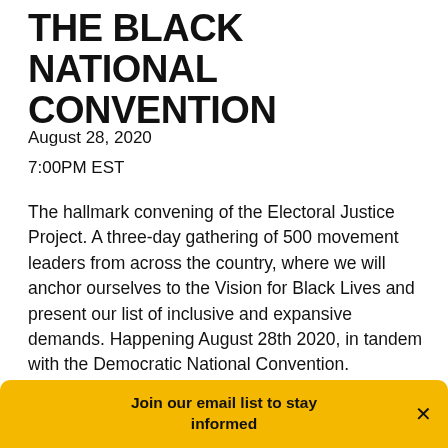THE BLACK NATIONAL CONVENTION
August 28, 2020
7:00PM EST
The hallmark convening of the Electoral Justice Project. A three-day gathering of 500 movement leaders from across the country, where we will anchor ourselves to the Vision for Black Lives and present our list of inclusive and expansive demands. Happening August 28th 2020, in tandem with the Democratic National Convention.
VIEW EVENT →
Join our email list to stay informed